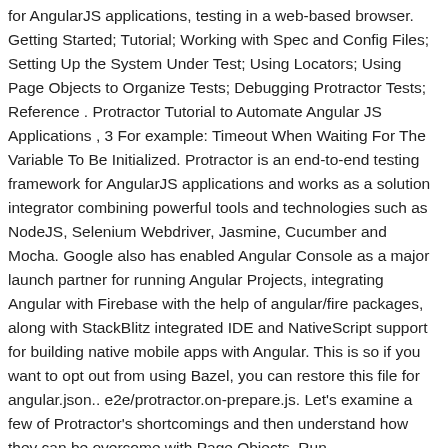for AngularJS applications, testing in a web-based browser. Getting Started; Tutorial; Working with Spec and Config Files; Setting Up the System Under Test; Using Locators; Using Page Objects to Organize Tests; Debugging Protractor Tests; Reference . Protractor Tutorial to Automate Angular JS Applications , 3 For example: Timeout When Waiting For The Variable To Be Initialized. Protractor is an end-to-end testing framework for AngularJS applications and works as a solution integrator combining powerful tools and technologies such as NodeJS, Selenium Webdriver, Jasmine, Cucumber and Mocha. Google also has enabled Angular Console as a major launch partner for running Angular Projects, integrating Angular with Firebase with the help of angular/fire packages, along with StackBlitz integrated IDE and NativeScript support for building native mobile apps with Angular. This is so if you want to opt out from using Bazel, you can restore this file for angular.json.. e2e/protractor.on-prepare.js. Let's examine a few of Protractor's shortcomings and then understand how they can be overcome with Page Objects. Run browser.instance it was the most popular...